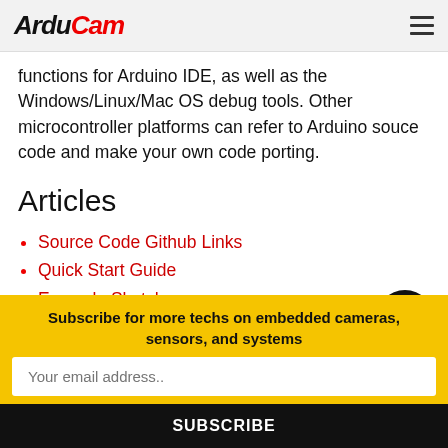ArduCam
functions for Arduino IDE, as well as the Windows/Linux/Mac OS debug tools. Other microcontroller platforms can refer to Arduino souce code and make your own code porting.
Articles
Source Code Github Links
Quick Start Guide
Example Sketches
Host Debug Tools
Subscribe for more techs on embedded cameras, sensors, and systems